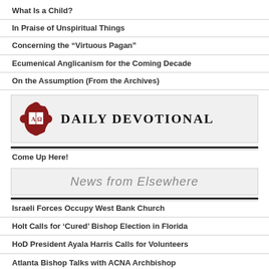What Is a Child?
In Praise of Unspiritual Things
Concerning the “Virtuous Pagan”
Ecumenical Anglicanism for the Coming Decade
On the Assumption (From the Archives)
[Figure (logo): Daily Devotional banner with Alpha-Omega logo in red medallion shape and text DAILY DEVOTIONAL in serif font]
Come Up Here!
[Figure (other): News from Elsewhere banner with gray background and italic text]
Israeli Forces Occupy West Bank Church
Holt Calls for ‘Cured’ Bishop Election in Florida
HoD President Ayala Harris Calls for Volunteers
Atlanta Bishop Talks with ACNA Archbishop